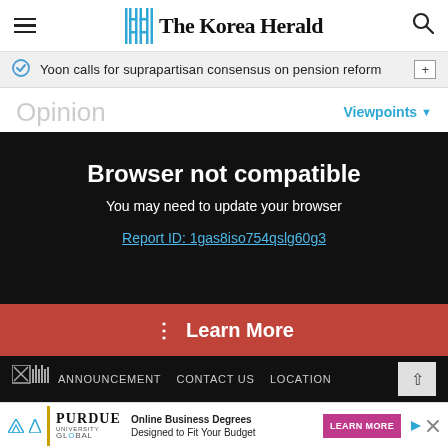The Korea Herald
Yoon calls for suprapartisan consensus on pension reform
Opinion
Viewpoints
Browser not compatible
You may need to update your browser
Report ID: 1gas8iso754qslg60g3
Learn More
ANNOUNCEMENT   CONTACT US   LOCATION
[Figure (infographic): Purdue University Global advertisement: Online Business Degrees Designed to Fit Your Budget, LEARN MORE button]